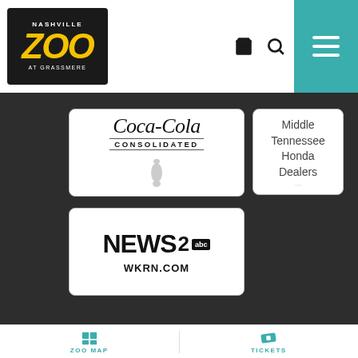Nashville Zoo at Grassmere - navigation header
[Figure (logo): Coca-Cola Consolidated sponsor logo]
[Figure (logo): Middle Tennessee Honda Dealers sponsor logo]
[Figure (logo): NEWS2abc WKRN.COM sponsor logo]
Quicklinks
Contact Us
Careers
About Us
Privacy Policy
ZOO MAP   TICKETS